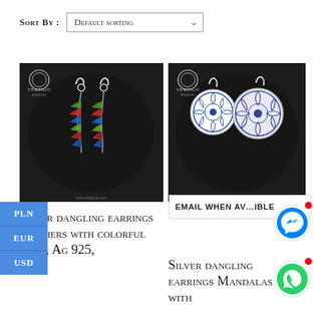Sort By : Default sorting
[Figure (photo): Silver dangling feather earrings with colorful resin on dark background, Vertigo Jewelry branding]
[Figure (photo): Silver dangling mandala earrings on dark background, Vertigo Jewelry branding, with messenger and whatsapp floating buttons]
PLN
EUR
USD
EMAIL WHEN AVAILABLE
Silver dangling earrings Feathers with colorful resin, Ag 925,
Silver dangling earrings Mandalas with